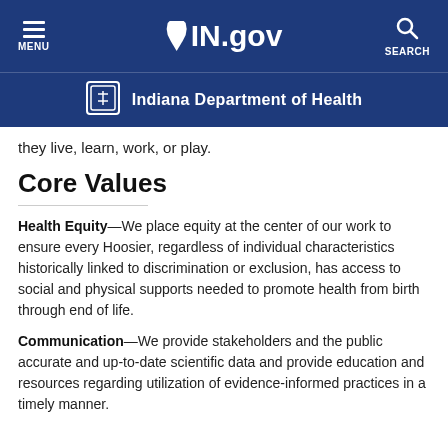IN.gov — Indiana Department of Health
they live, learn, work, or play.
Core Values
Health Equity—We place equity at the center of our work to ensure every Hoosier, regardless of individual characteristics historically linked to discrimination or exclusion, has access to social and physical supports needed to promote health from birth through end of life.
Communication—We provide stakeholders and the public accurate and up-to-date scientific data and provide education and resources regarding utilization of evidence-informed practices in a timely manner.